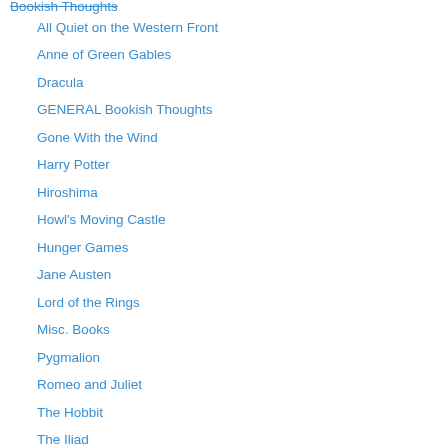Bookish Thoughts (partial, top cut off)
All Quiet on the Western Front
Anne of Green Gables
Dracula
GENERAL Bookish Thoughts
Gone With the Wind
Harry Potter
Hiroshima
Howl's Moving Castle
Hunger Games
Jane Austen
Lord of the Rings
Misc. Books
Pygmalion
Romeo and Juliet
The Hobbit
The Iliad
The Lion, the Witch and the Wardrobe
Twilight
Wuthering Heights